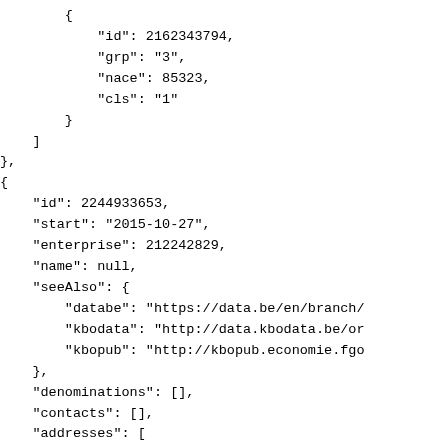{
            "id": 2162343794,
            "grp": "3",
            "nace": 85323,
            "cls": "1"
        }
    ]
},
{
    "id": 2244933653,
    "start": "2015-10-27",
    "enterprise": 212242829,
    "name": null,
    "seeAlso": {
        "databe": "https://data.be/en/branch/
        "kbodata": "http://data.kbodata.be/or
        "kbopub": "http://kbopub.economie.fgo
    },
    "denominations": [],
    "contacts": [],
    "addresses": [
        {
            "zip": "2880",
            "municipality": "Bornem",
            "street": "Stationsstraat(BOR)",